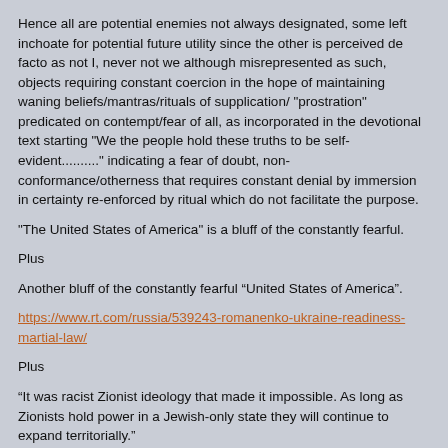Hence all are potential enemies not always designated, some left inchoate for potential future utility since the other is perceived de facto as not I, never not we although misrepresented as such, objects requiring constant coercion in the hope of maintaining waning beliefs/mantras/rituals of supplication/ "prostration" predicated on contempt/fear of all, as incorporated in the devotional text starting "We the people hold these truths to be self-evident.........." indicating a fear of doubt, non-conformance/otherness that requires constant denial by immersion in certainty re-enforced by ritual which do not facilitate the purpose.
"The United States of America" is a bluff of the constantly fearful.
Plus
Another bluff of the constantly fearful “United States of America”.
https://www.rt.com/russia/539243-romanenko-ukraine-readiness-martial-law/
Plus
“It was racist Zionist ideology that made it impossible. As long as Zionists hold power in a Jewish-only state they will continue to expand territorially.”